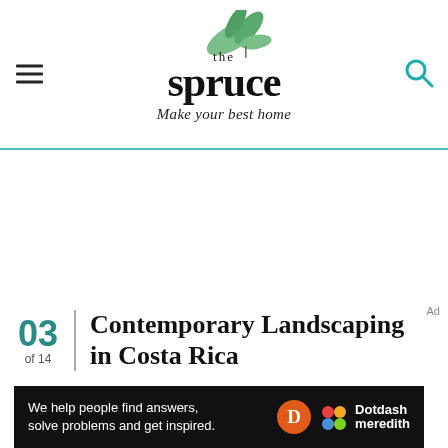the spruce — Make your best home
03 of 14 Contemporary Landscaping in Costa Rica
[Figure (screenshot): Image placeholder for contemporary costa rica landscaping]
We help people find answers, solve problems and get inspired. Dotdash meredith